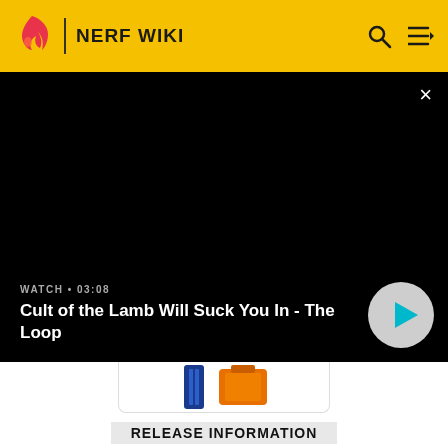NERF WIKI
[Figure (screenshot): Black video player overlay with close button (×), watch label 'WATCH • 03:08', video title 'Cult of the Lamb Will Suck You In - The Loop', and a circular play button.]
[Figure (photo): Partial product image showing blue and orange Nerf magazine/clip accessories.]
RELEASE INFORMATION
COMPANY   Hasbro